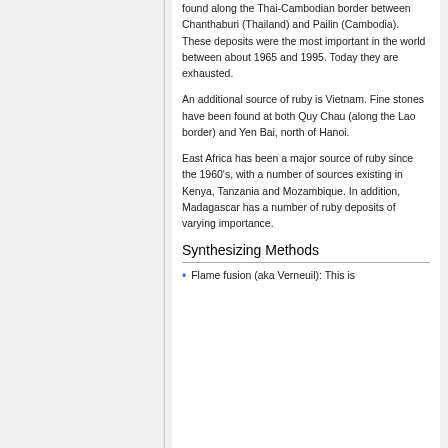found along the Thai-Cambodian border between Chanthaburi (Thailand) and Pailin (Cambodia). These deposits were the most important in the world between about 1965 and 1995. Today they are exhausted.
An additional source of ruby is Vietnam. Fine stones have been found at both Quy Chau (along the Lao border) and Yen Bai, north of Hanoi.
East Africa has been a major source of ruby since the 1960's, with a number of sources existing in Kenya, Tanzania and Mozambique. In addition, Madagascar has a number of ruby deposits of varying importance.
Synthesizing Methods
Flame fusion (aka Verneuil): This is